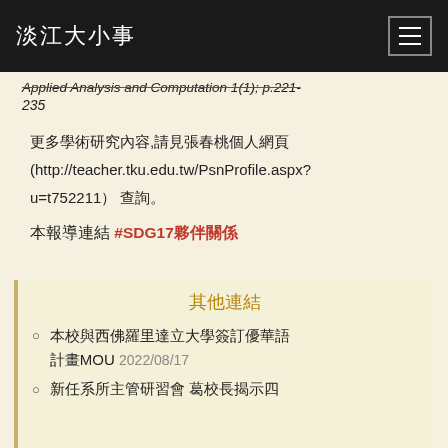淡江大小事
Applied Analysis and Computation 1(1); p.221-235
更多學術研究內容,請見張春桃個人網頁 (http://teacher.tku.edu.tw/PsnProfile.aspx?u=t752211） 查詢。
本報導連結 #SDG17夥伴關係
其他連結
本校與西佛羅里達立大學簽訂優華語計畫MOU 2022/08/17
新任系所主管研習會 葛校長揭示四